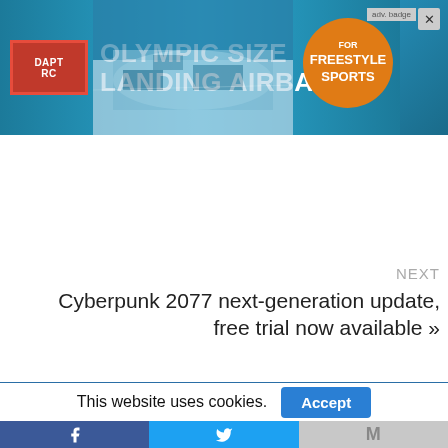[Figure (screenshot): Advertisement banner for Olympic Size Landing Airbag for Freestyle Sports, with red logo on left, white headline text, orange circle badge on right, and aerial snow/ski slope background image.]
[Figure (screenshot): Search/close bar UI element — a light gray input box with an X close button to the right.]
NEXT
Cyberpunk 2077 next-generation update, free trial now available »
PREVIOUS
This website uses cookies.
[Figure (screenshot): Cookie consent bar with Accept button and social share bar with Facebook, Twitter, and email icons at the bottom.]